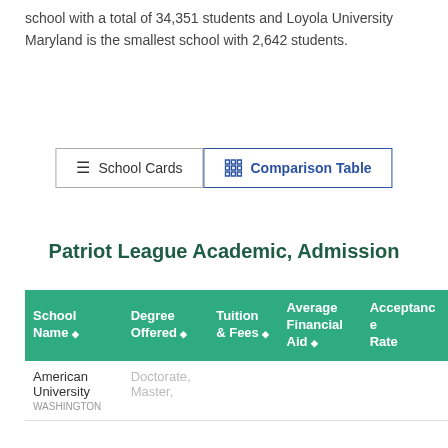school with a total of 34,351 students and Loyola University Maryland is the smallest school with 2,642 students.
School Cards | Comparison Table
Patriot League Academic, Admission
| School Name | Degree Offered | Tuition & Fees | Average Financial Aid | Acceptance Rate |
| --- | --- | --- | --- | --- |
| American University
WASHINGTON | Doctorate, Master, |  |  |  |